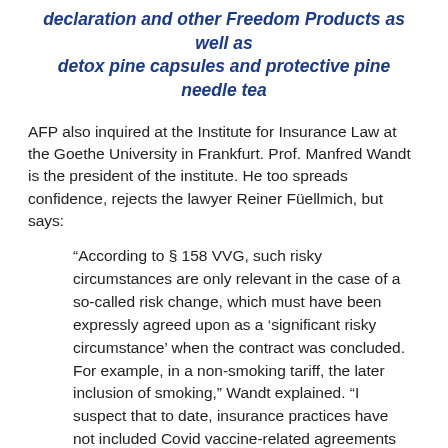declaration and other Freedom Products as well as detox pine capsules and protective pine needle tea
AFP also inquired at the Institute for Insurance Law at the Goethe University in Frankfurt. Prof. Manfred Wandt is the president of the institute. He too spreads confidence, rejects the lawyer Reiner Füellmich, but says:
“According to § 158 VVG, such risky circumstances are only relevant in the case of a so-called risk change, which must have been expressly agreed upon as a ‘significant risky circumstance’ when the contract was concluded. For example, in a non-smoking tariff, the later inclusion of smoking,” Wandt explained. “I suspect that to date, insurance practices have not included Covid vaccine-related agreements in policies, and hopefully will never need to because of the intended effectiveness of vaccinations.”